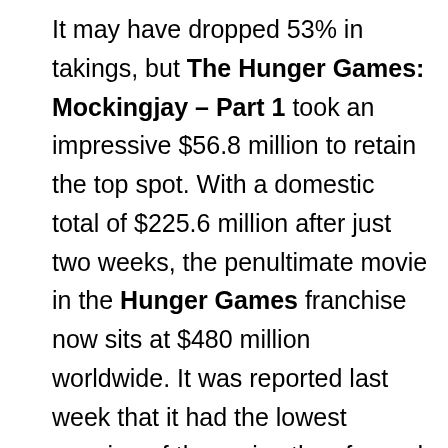It may have dropped 53% in takings, but The Hunger Games: Mockingjay – Part 1 took an impressive $56.8 million to retain the top spot. With a domestic total of $225.6 million after just two weeks, the penultimate movie in the Hunger Games franchise now sits at $480 million worldwide. It was reported last week that it had the lowest opening of the series thus far and it's unlikely to beat the overall takings of The Hunger Games ($691.2 million) and will really struggle to topple The Hunger Games: Catching Fire ($864.9 million). You can listen to the Flickering Myth Podcast review of The Hunger Games: Mockingjay – Part 1 using the player below: